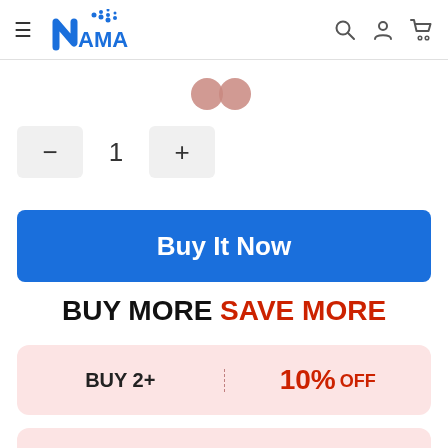[Figure (logo): NAMA brand logo with stylized N and dot-pattern flag in blue]
[Figure (illustration): Two pink/rose circular color swatches side by side]
− 1 +
Buy It Now
BUY MORE SAVE MORE
BUY 2+   10% OFF
BUY 5+   15% OFF